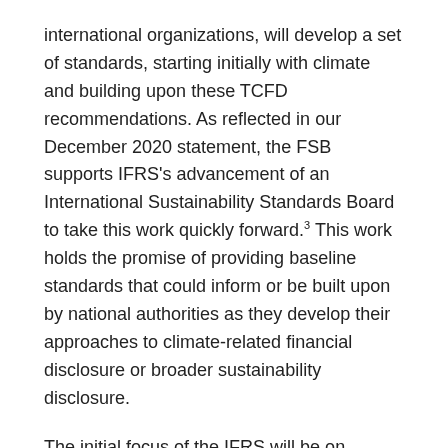international organizations, will develop a set of standards, starting initially with climate and building upon these TCFD recommendations. As reflected in our December 2020 statement, the FSB supports IFRS's advancement of an International Sustainability Standards Board to take this work quickly forward.3 This work holds the promise of providing baseline standards that could inform or be built upon by national authorities as they develop their approaches to climate-related financial disclosure or broader sustainability disclosure.
The initial focus of the IFRS will be on climate standards, while allowing for interoperability with individual jurisdictions' frameworks, that may go beyond climate-related impacts. Consistency in one-